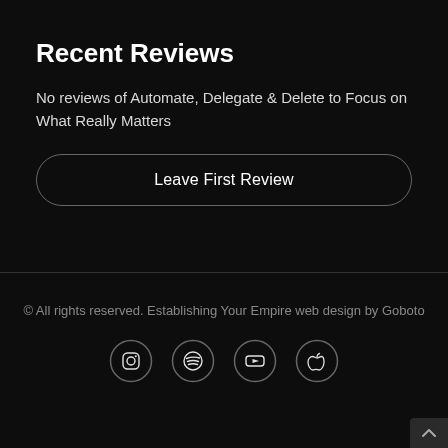Recent Reviews
No reviews of Automate, Delegate & Delete to Focus on What Really Matters
Leave First Review
© All rights reserved. Establishing Your Empire web design by Goboto
[Figure (infographic): Four social media icons in circles: Instagram, Spotify, YouTube, Apple]